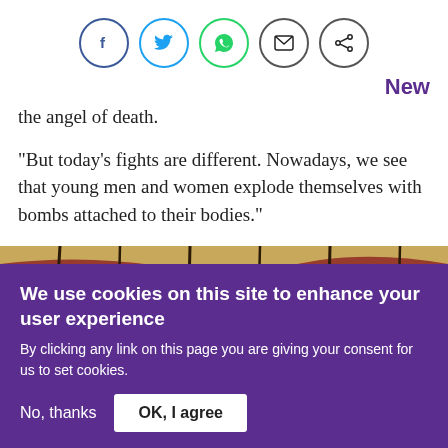[Figure (other): Social media share icons in circles: Facebook (blue), Twitter (blue), WhatsApp (green), Email (black), Share (black)]
New
the angel of death.
“But today’s fights are different. Nowadays, we see that young men and women explode themselves with bombs attached to their bodies.”
[Figure (illustration): Partial view of an artwork showing barbed wire and wartime scene with earthy yellow, red, teal colors]
We use cookies on this site to enhance your user experience
By clicking any link on this page you are giving your consent for us to set cookies.
No, thanks
OK, I agree